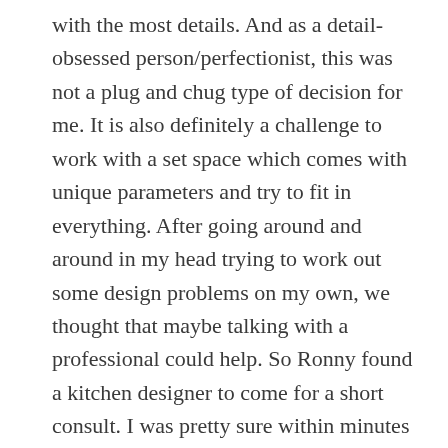with the most details. And as a detail-obsessed person/perfectionist, this was not a plug and chug type of decision for me. It is also definitely a challenge to work with a set space which comes with unique parameters and try to fit in everything. After going around and around in my head trying to work out some design problems on my own, we thought that maybe talking with a professional could help. So Ronny found a kitchen designer to come for a short consult. I was pretty sure within minutes that she wasn't going to be able to provide me with solutions which rocked my world, and sure enough, she didn't. She completely lost street cred with me when she strongly suggested we make the large dining area window smaller, raising the bottom level up to counter height so that we could extend counter there. The cost of a new window and exterior brick work was turnoff enough, but it would be terribly difficult for me to get on board with making